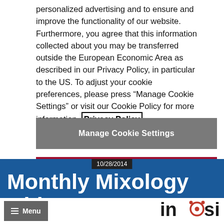personalized advertising and to ensure and improve the functionality of our website. Furthermore, you agree that this information collected about you may be transferred outside the European Economic Area as described in our Privacy Policy, in particular to the US. To adjust your cookie preferences, please press “Manage Cookie Settings” or visit our Cookie Policy for more information. Privacy Policy
Manage Cookie Settings
Reject All Optional Cookies
Accept All Cookies
10/28/2014
Monthly Mixology with
Menu
[Figure (logo): Insight logo with stylized eye replacing the 'o' in 'insight']